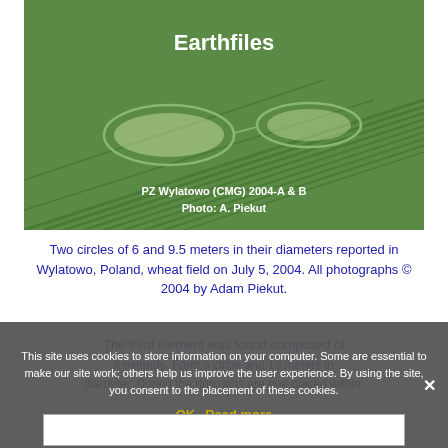[Figure (photo): Aerial photograph of a wheat field in Wylatowo, Poland showing two flattened crop circles of different sizes. Text overlay reads 'Earthfiles' at top and 'PZ Wylatowo (CMG) 2004-A & B Photo: A. Piekut' at bottom.]
Two circles of 6 and 9.5 meters in their diameters reported in Wylatowo, Poland, wheat field on July 5, 2004. All photographs © 2004 by Adam Piekut.
The third element was found composed of
This site uses cookies to store information on your computer. Some are essential to make our site work; others help us improve the user experience. By using the site, you consent to the placement of these cookies.